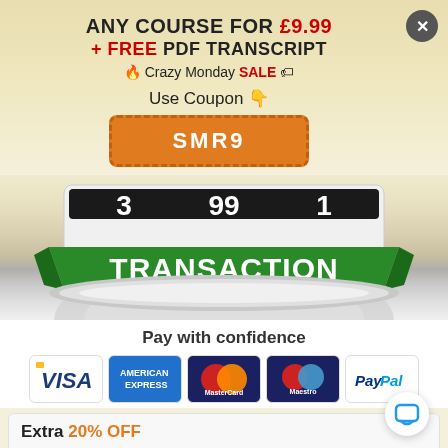ANY COURSE FOR £9.99 + FREE PDF TRANSCRIPT 🔥 Crazy Monday SALE 🏷
Use Coupon 👇
SMR9
[Figure (illustration): Slot machine reel showing the word TRANSACTION on a green banner, with metallic/silver reel visible above]
Pay with confidence
[Figure (illustration): Payment method logos: Visa, American Express, MasterCard, Maestro, PayPal]
Extra 20% OFF